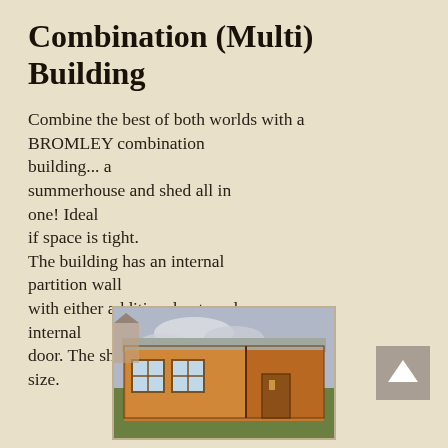Combination (Multi) Building
Combine the best of both worlds with a BROMLEY combination building... a summerhouse and shed all in one! Ideal if space is tight. The building has an internal partition wall with either additional external or internal door. The shed section can be any size.
[Figure (photo): Photo of a wooden combination building/summerhouse-shed structure with grey roof, windows on the left section, and door on the right section, in a garden setting.]